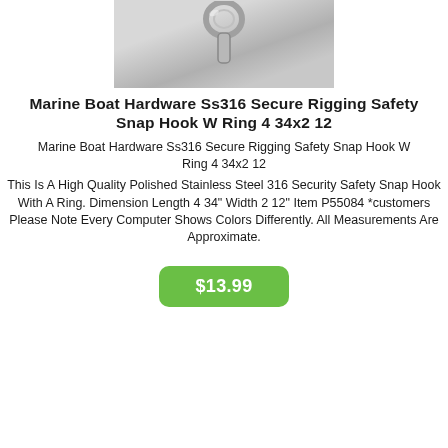[Figure (photo): Close-up photo of a polished stainless steel snap hook with a ring, shown against a light gray background.]
Marine Boat Hardware Ss316 Secure Rigging Safety Snap Hook W Ring 4 34x2 12
Marine Boat Hardware Ss316 Secure Rigging Safety Snap Hook W Ring 4 34x2 12
This Is A High Quality Polished Stainless Steel 316 Security Safety Snap Hook With A Ring. Dimension Length 4 34" Width 2 12" Item P55084 *customers Please Note Every Computer Shows Colors Differently. All Measurements Are Approximate.
$13.99